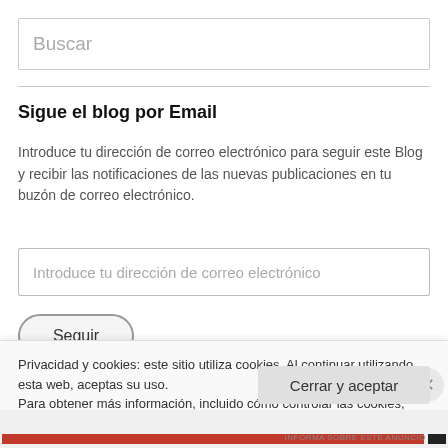Buscar
Sigue el blog por Email
Introduce tu dirección de correo electrónico para seguir este Blog y recibir las notificaciones de las nuevas publicaciones en tu buzón de correo electrónico.
Introduce tu dirección de correo electrónico
Seguir
Privacidad y cookies: este sitio utiliza cookies. Al continuar utilizando esta web, aceptas su uso.
Para obtener más información, incluido cómo controlar las cookies, consulta aquí: Política de cookies
Cerrar y aceptar